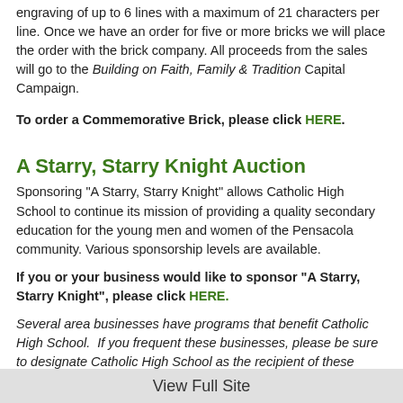engraving of up to 6 lines with a maximum of 21 characters per line. Once we have an order for five or more bricks we will place the order with the brick company. All proceeds from the sales will go to the Building on Faith, Family & Tradition Capital Campaign.
To order a Commemorative Brick, please click HERE.
A Starry, Starry Knight Auction
Sponsoring "A Starry, Starry Knight" allows Catholic High School to continue its mission of providing a quality secondary education for the young men and women of the Pensacola community. Various sponsorship levels are available.
If you or your business would like to sponsor "A Starry, Starry Knight", please click HERE.
Several area businesses have programs that benefit Catholic High School.  If you frequent these businesses, please be sure to designate Catholic High School as the recipient of these rewards.
Amazon Smile
Amazon's Amazon Smile program allows a percentage of purchases made on Amazon.com to be donated to CHS. The program offers the same products as the regular Amazon.com website, as well as individual Amazon Prime accounts. The process is simple, just click
View Full Site